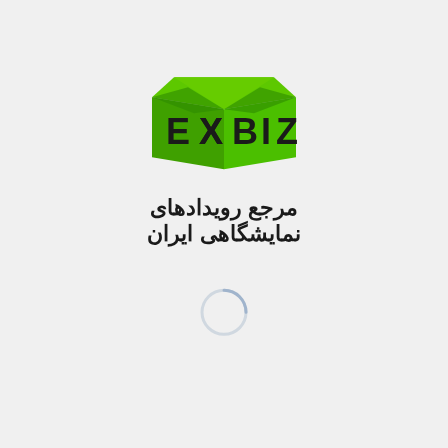[Figure (logo): EXBIZ logo with green 3D box shape and bold black text letters E, X, B, I, Z, with Persian subtitle text below reading 'مرجع رویدادهای نمایشگاهی ایران']
[Figure (other): Loading spinner ring, partial circle arc in light blue/gray color indicating page loading]